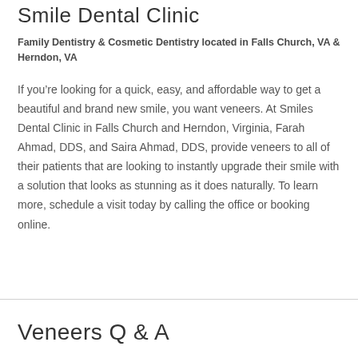Smile Dental Clinic
Family Dentistry & Cosmetic Dentistry located in Falls Church, VA & Herndon, VA
If you’re looking for a quick, easy, and affordable way to get a beautiful and brand new smile, you want veneers. At Smiles Dental Clinic in Falls Church and Herndon, Virginia, Farah Ahmad, DDS, and Saira Ahmad, DDS, provide veneers to all of their patients that are looking to instantly upgrade their smile with a solution that looks as stunning as it does naturally. To learn more, schedule a visit today by calling the office or booking online.
Veneers Q & A